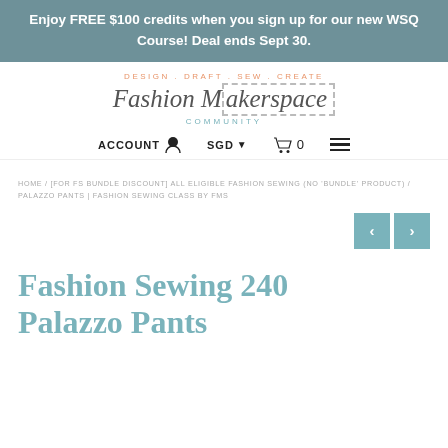Enjoy FREE $100 credits when you sign up for our new WSQ Course! Deal ends Sept 30.
[Figure (logo): Fashion Makerspace Community logo with tagline DESIGN . DRAFT . SEW . CREATE and dashed border around 'space']
ACCOUNT  SGD  0  (hamburger menu)
HOME / [FOR FS BUNDLE DISCOUNT] ALL ELIGIBLE FASHION SEWING (NO 'BUNDLE' PRODUCT) / PALAZZO PANTS | FASHION SEWING CLASS BY FMS
Fashion Sewing 240 Palazzo Pants